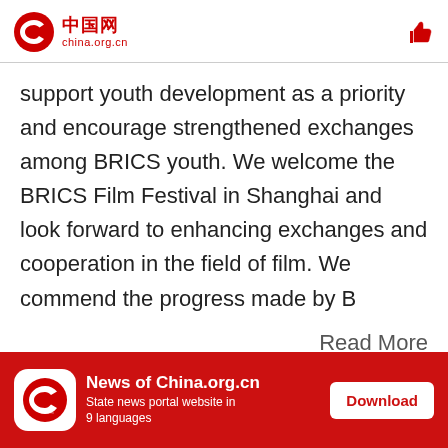中国网 china.org.cn
support youth development as a priority and encourage strengthened exchanges among BRICS youth. We welcome the BRICS Film Festival in Shanghai and look forward to enhancing exchanges and cooperation in the field of film. We commend the progress made by B
Read More
News of China.org.cn — State news portal website in 9 languages — Download